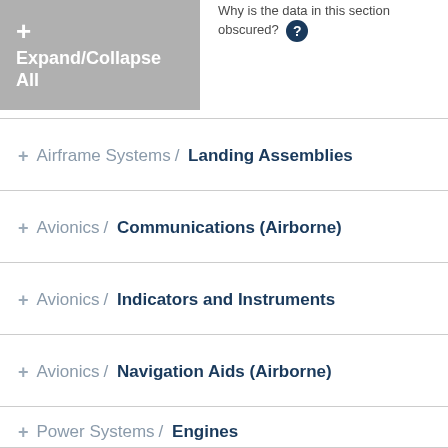[Figure (screenshot): Gray expand/collapse all button with plus icon and white text]
Why is the data in this section obscured? (question icon)
+ Airframe Systems / Landing Assemblies
+ Avionics / Communications (Airborne)
+ Avionics / Indicators and Instruments
+ Avionics / Navigation Aids (Airborne)
+ Power Systems / Engines